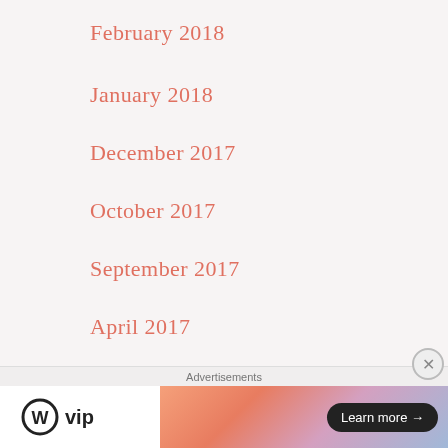February 2018
January 2018
December 2017
October 2017
September 2017
April 2017
March 2017
February 2017
January 2017
December 2016
[Figure (logo): WordPress VIP logo with circular W icon and 'vip' text, alongside a gradient banner advertisement with 'Learn more' button]